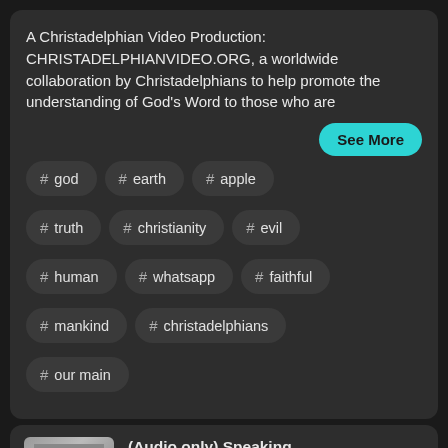A Christadelphian Video Production: CHRISTADELPHIANVIDEO.ORG, a worldwide collaboration by Christadelphians to help promote the understanding of God's Word to those who are
See More
# god
# earth
# apple
# truth
# christianity
# evil
# human
# whatsapp
# faithful
# mankind
# christadelphians
# our main
(Audio only) Speaking with words of Truth and